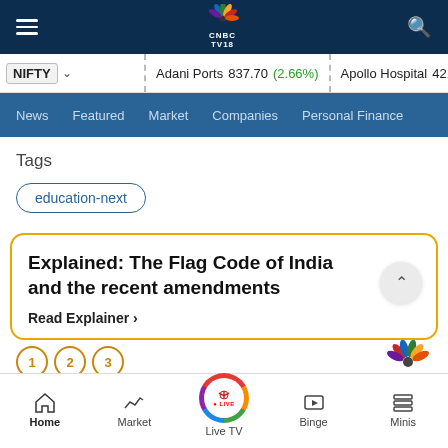CNBC TV18 - Navigation Header
NIFTY | Adani Ports 837.70 (2.66%) | Apollo Hospital 4215.25 (1.1%)
News | Featured | Market | Companies | Personal Finance
Tags
education-next
Explained: The Flag Code of India and the recent amendments
Read Explainer ›
Home | Market | Live TV | Binge | Minis